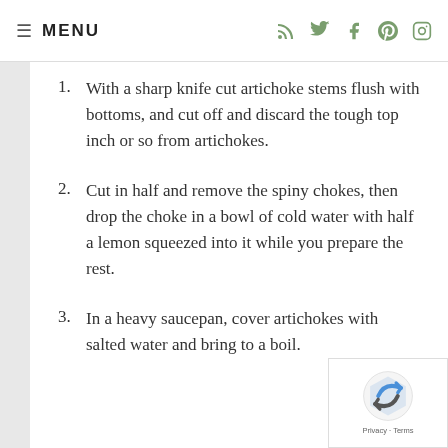≡ MENU  [RSS] [Twitter] [Facebook] [Pinterest] [Instagram]
1. With a sharp knife cut artichoke stems flush with bottoms, and cut off and discard the tough top inch or so from artichokes.
2. Cut in half and remove the spiny chokes, then drop the choke in a bowl of cold water with half a lemon squeezed into it while you prepare the rest.
3. In a heavy saucepan, cover artichokes with salted water and bring to a boil.